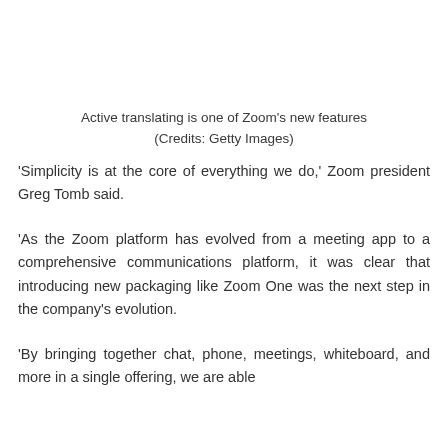Active translating is one of Zoom's new features
(Credits: Getty Images)
‘Simplicity is at the core of everything we do,’ Zoom president Greg Tomb said.
‘As the Zoom platform has evolved from a meeting app to a comprehensive communications platform, it was clear that introducing new packaging like Zoom One was the next step in the company’s evolution.
‘By bringing together chat, phone, meetings, whiteboard, and more in a single offering, we are able